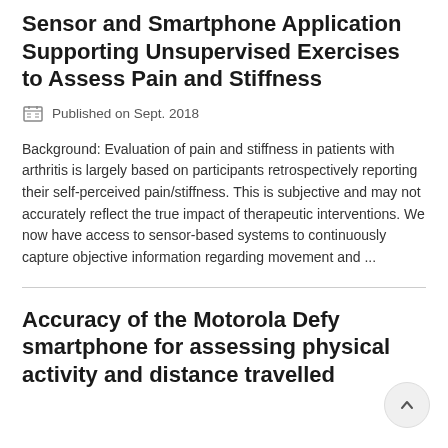Observational Study of a Wearable Sensor and Smartphone Application Supporting Unsupervised Exercises to Assess Pain and Stiffness
Published on Sept. 2018
Background: Evaluation of pain and stiffness in patients with arthritis is largely based on participants retrospectively reporting their self-perceived pain/stiffness. This is subjective and may not accurately reflect the true impact of therapeutic interventions. We now have access to sensor-based systems to continuously capture objective information regarding movement and ...
Accuracy of the Motorola Defy smartphone for assessing physical activity and distance travelled